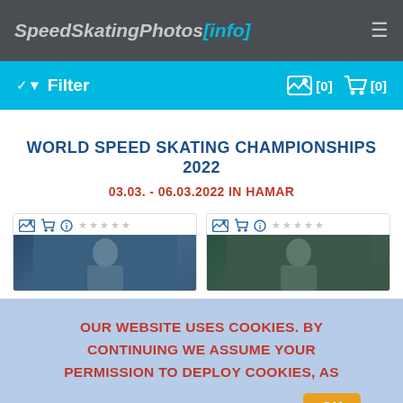SpeedSkatingPhotos[.info]
Filter [0] [0]
WORLD SPEED SKATING CHAMPIONSHIPS 2022
03.03. - 06.03.2022 IN HAMAR
[Figure (photo): Two photo thumbnails of speed skating athletes with toolbar icons (image, cart, info) and star ratings]
OUR WEBSITE USES COOKIES. BY CONTINUING WE ASSUME YOUR PERMISSION TO DEPLOY COOKIES, AS DETAILED IN OUR PRIVACY POLICY. OK